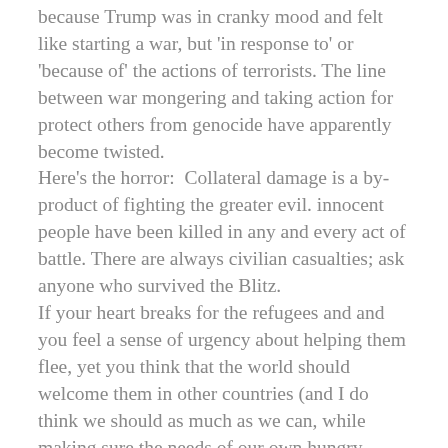because Trump was in cranky mood and felt like starting a war, but 'in response to' or 'because of' the actions of terrorists. The line between war mongering and taking action for protect others from genocide have apparently become twisted.
Here's the horror:  Collateral damage is a by-product of fighting the greater evil. innocent people have been killed in any and every act of battle. There are always civilian casualties; ask anyone who survived the Blitz.
If your heart breaks for the refugees and and you feel a sense of urgency about helping them flee, yet you think that the world should welcome them in other countries (and I do think we should as much as we can, while making sure the needs of our own hungry children and veterans are met), I think that gives us an incomplete picture. This leaves the wills of the oppressed people completely out of the equation. Some of us think shuffling them around, so that we can feel noble about it